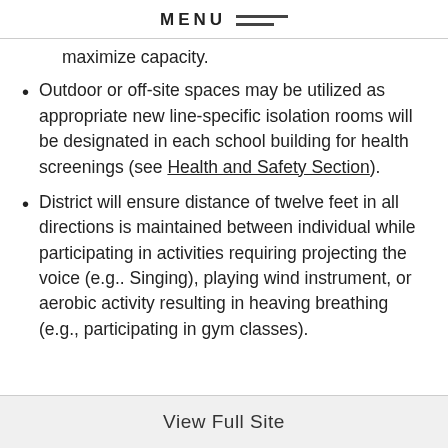MENU
maximize capacity.
Outdoor or off-site spaces may be utilized as appropriate new line-specific isolation rooms will be designated in each school building for health screenings (see Health and Safety Section).
District will ensure distance of twelve feet in all directions is maintained between individual while participating in activities requiring projecting the voice (e.g.. Singing), playing wind instrument, or aerobic activity resulting in heaving breathing (e.g., participating in gym classes).
View Full Site